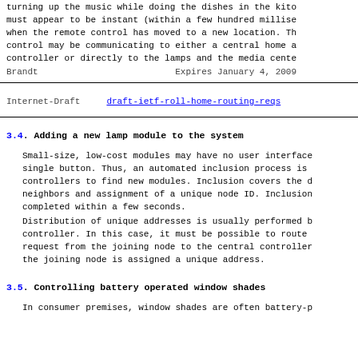turning up the music while doing the dishes in the kito must appear to be instant (within a few hundred millise when the remote control has moved to a new location. Th control may be communicating to either a central home a controller or directly to the lamps and the media cente
Brandt                    Expires January 4, 2009
Internet-Draft      draft-ietf-roll-home-routing-reqs
3.4. Adding a new lamp module to the system
Small-size, low-cost modules may have no user interface single button. Thus, an automated inclusion process is controllers to find new modules. Inclusion covers the d neighbors and assignment of a unique node ID. Inclusion completed within a few seconds.
Distribution of unique addresses is usually performed b controller. In this case, it must be possible to route request from the joining node to the central controller the joining node is assigned a unique address.
3.5. Controlling battery operated window shades
In consumer premises, window shades are often battery-p